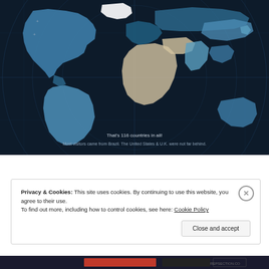[Figure (map): World map on dark navy background with globe grid lines. Countries highlighted in varying shades of blue and beige, showing visitor countries. Text overlay at bottom reads: 'That's 116 countries in all! Most visitors came from Brazil. The United States & U.K. were not far behind.']
Privacy & Cookies: This site uses cookies. By continuing to use this website, you agree to their use.
To find out more, including how to control cookies, see here: Cookie Policy
Close and accept